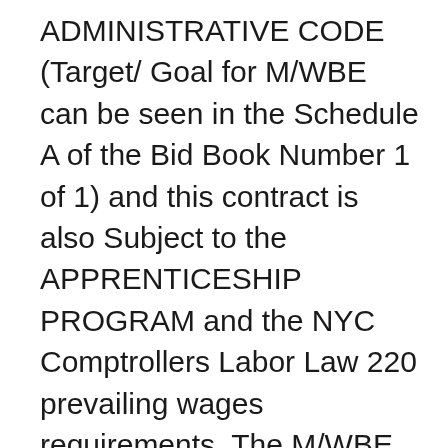ADMINISTRATIVE CODE (Target/ Goal for M/WBE can be seen in the Schedule A of the Bid Book Number 1 of 1) and this contract is also Subject to the APPRENTICESHIP PROGRAM and the NYC Comptrollers Labor Law 220 prevailing wages requirements. The M/WBE goal for this project is 10 percent . Drawings are not available for download and MUST be purchased. A printed copy of the bid can also be purchased. A deposit of $50.00 is required for the bid documents and a deposit of $50.00 is required for drawings set in the form of a Certified Check or Money Order payable to: New York City Department of Transportation. NO CASH ACCEPTED. Company address, telephone and fax numbers are required when picking up contract documents. Entrance is located on the South Side of